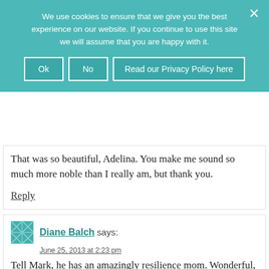We use cookies to ensure that we give you the best experience on our website. If you continue to use this site we will assume that you are happy with it.
Ok  No  Read our Privacy Policy here
That was so beautiful, Adelina. You make me sound so much more noble than I really am, but thank you.
Reply
Diane Balch says:
June 25, 2013 at 2:23 pm
Tell Mark, he has an amazingly resilience mom. Wonderful, wonderful woman, it